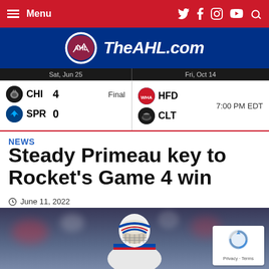Menu | TheAHL.com
[Figure (logo): TheAHL.com logo with AHL shield and site name in white italic text on dark blue background]
| Date | Team | Score | Status | Date2 | Team2 | Time |
| --- | --- | --- | --- | --- | --- | --- |
| Sat, Jun 25 | CHI | 4 | Final | Fri, Oct 14 | HFD | 7:00 PM EDT |
| Sat, Jun 25 | SPR | 0 | Final | Fri, Oct 14 | CLT | 7:00 PM EDT |
NEWS
Steady Primeau key to Rocket's Game 4 win
June 11, 2022
[Figure (photo): Hockey goalie wearing white and blue mask in arena setting with crowd in background]